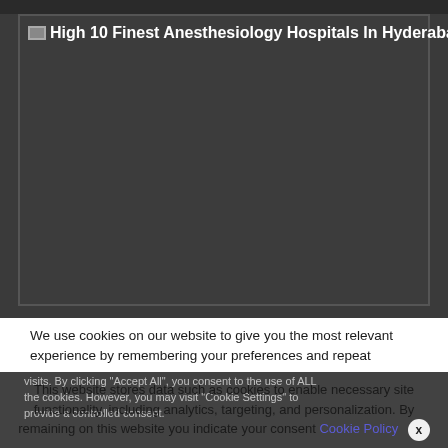[Figure (photo): Broken/unloaded image placeholder with alt text 'High 10 Finest Anesthesiology Hospitals In Hyderabad' on a dark gray background]
We use cookies on our website to give you the most relevant experience by remembering your preferences and repeat visits. By clicking "Accept All", you consent to the use of ALL the cookies. However, you may visit "Cookie Settings" to provide a controlled consent.
This website stores data such as cookies to enable necessary site functionality, including analytics, targeting, and personalization. By remaining on this website you indicate your consent Cookie Policy